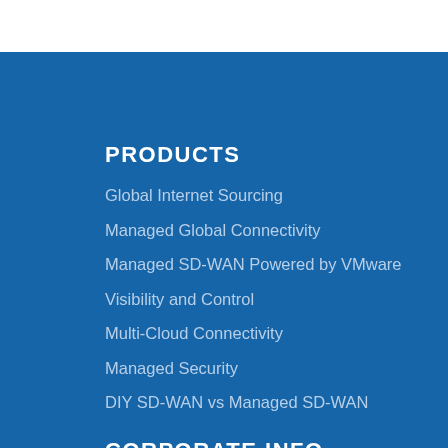PRODUCTS
Global Internet Sourcing
Managed Global Connectivity
Managed SD-WAN Powered by VMware
Visibility and Control
Multi-Cloud Connectivity
Managed Security
DIY SD-WAN vs Managed SD-WAN
CORPORATE INFO